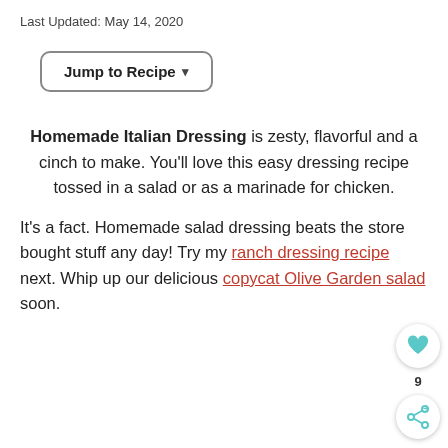Last Updated: May 14, 2020
Jump to Recipe ▾
Homemade Italian Dressing is zesty, flavorful and a cinch to make. You'll love this easy dressing recipe tossed in a salad or as a marinade for chicken.
It's a fact. Homemade salad dressing beats the store bought stuff any day! Try my ranch dressing recipe next. Whip up our delicious copycat Olive Garden salad soon.